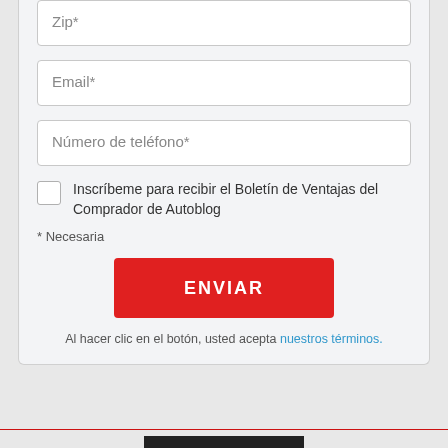Zip*
Email*
Número de teléfono*
Inscríbeme para recibir el Boletín de Ventajas del Comprador de Autoblog
* Necesaria
ENVIAR
Al hacer clic en el botón, usted acepta nuestros términos.